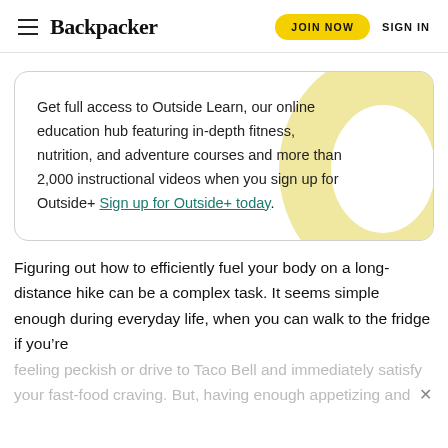Backpacker | JOIN NOW  SIGN IN
Get full access to Outside Learn, our online education hub featuring in-depth fitness, nutrition, and adventure courses and more than 2,000 instructional videos when you sign up for Outside+ Sign up for Outside+ today.
Figuring out how to efficiently fuel your body on a long-distance hike can be a complex task. It seems simple enough during everyday life, when you can walk to the fridge if you’re feeling peckish or drive to Taco Bell and immediately satisfy your fast-food craving. But, having enough appetizing and